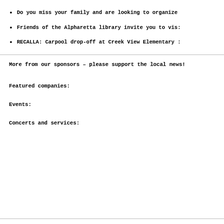Do you miss your family and are looking to organize
Friends of the Alpharetta library invite you to vis:
RECALLA: Carpool drop-off at Creek View Elementary :
More from our sponsors – please support the local news!
Featured companies:
Events:
Concerts and services: